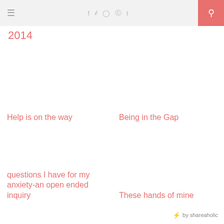≡  f  t   instagram  pinterest  tumblr  [search]
2014
Help is on the way
Being in the Gap
questions I have for my anxiety-an open ended inquiry
These hands of mine
⚡ by shareaholic